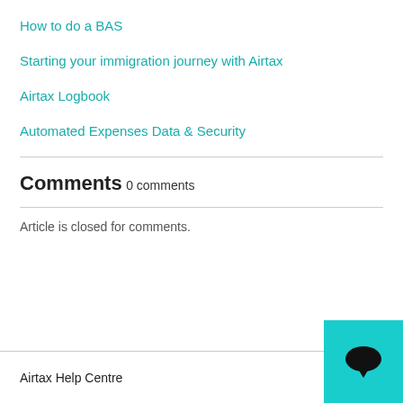How to do a BAS
Starting your immigration journey with Airtax
Airtax Logbook
Automated Expenses Data & Security
Comments
0 comments
Article is closed for comments.
Airtax Help Centre